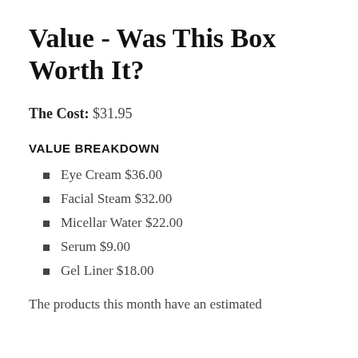Value - Was This Box Worth It?
The Cost: $31.95
VALUE BREAKDOWN
Eye Cream $36.00
Facial Steam $32.00
Micellar Water $22.00
Serum $9.00
Gel Liner $18.00
The products this month have an estimated